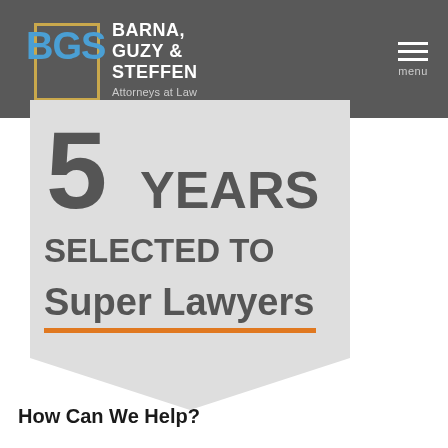[Figure (logo): BGS law firm logo with blue letters and gold border box]
BARNA, GUZY & STEFFEN Attorneys at Law
[Figure (infographic): 5 YEARS SELECTED TO Super Lawyers ribbon badge with orange underline]
How Can We Help?